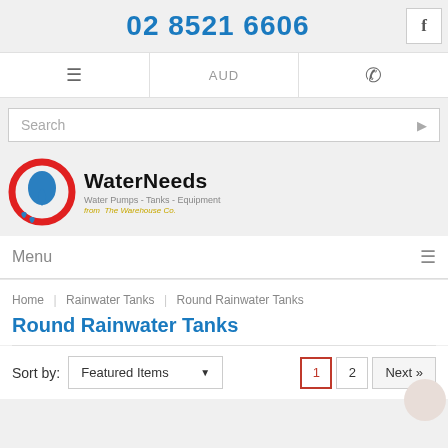02 8521 6606
AUD
Search
[Figure (logo): WaterNeeds logo with red circular icon and water drops. Text: WaterNeeds - Water Pumps - Tanks - Equipment - from The Warehouse Co.]
Menu
Home | Rainwater Tanks | Round Rainwater Tanks
Round Rainwater Tanks
Sort by: Featured Items
1  2  Next »